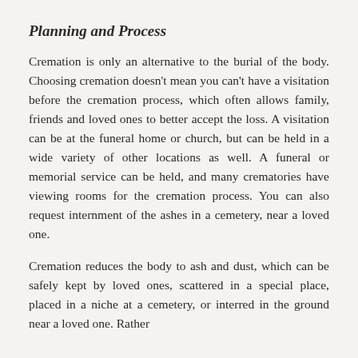Planning and Process
Cremation is only an alternative to the burial of the body. Choosing cremation doesn't mean you can't have a visitation before the cremation process, which often allows family, friends and loved ones to better accept the loss. A visitation can be at the funeral home or church, but can be held in a wide variety of other locations as well. A funeral or memorial service can be held, and many crematories have viewing rooms for the cremation process. You can also request internment of the ashes in a cemetery, near a loved one.
Cremation reduces the body to ash and dust, which can be safely kept by loved ones, scattered in a special place, placed in a niche at a cemetery, or interred in the ground near a loved one. Rather